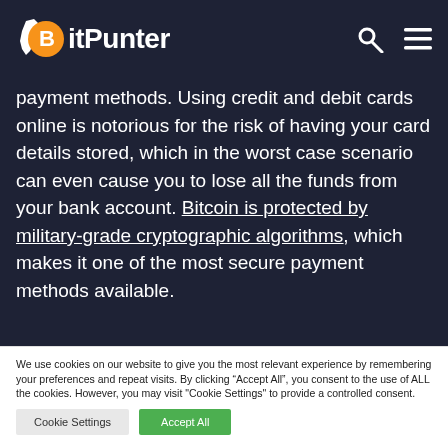BitPunter
payment methods. Using credit and debit cards online is notorious for the risk of having your card details stored, which in the worst case scenario can even cause you to lose all the funds from your bank account. Bitcoin is protected by military-grade cryptographic algorithms, which makes it one of the most secure payment methods available.
We use cookies on our website to give you the most relevant experience by remembering your preferences and repeat visits. By clicking “Accept All”, you consent to the use of ALL the cookies. However, you may visit "Cookie Settings" to provide a controlled consent.